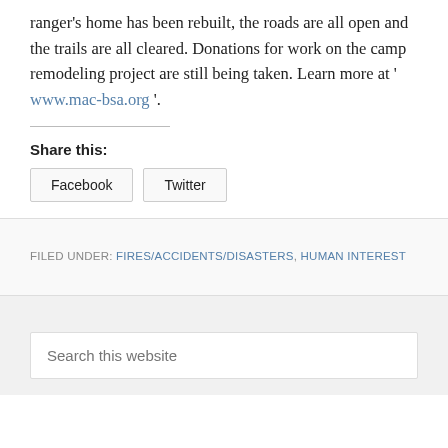ranger's home has been rebuilt, the roads are all open and the trails are all cleared. Donations for work on the camp remodeling project are still being taken. Learn more at ' www.mac-bsa.org '.
Share this:
Facebook
Twitter
FILED UNDER: FIRES/ACCIDENTS/DISASTERS, HUMAN INTEREST
Search this website